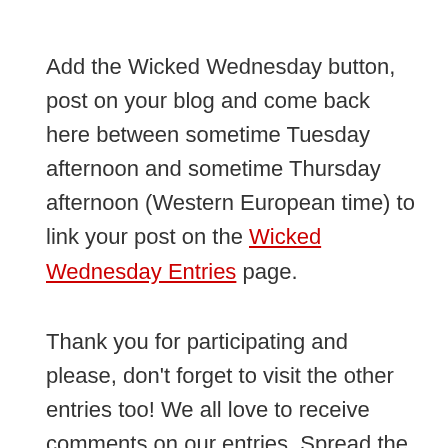Add the Wicked Wednesday button, post on your blog and come back here between sometime Tuesday afternoon and sometime Thursday afternoon (Western European time) to link your post on the Wicked Wednesday Entries page.
Thank you for participating and please, don't forget to visit the other entries too! We all love to receive comments on our entries. Spread the love!
We use cookies on our website to give you the most relevant experience by remembering your preferences and repeat visits. By clicking "Accept", you consent to the use of ALL the cookies. Read Privacy & Cookies Policy